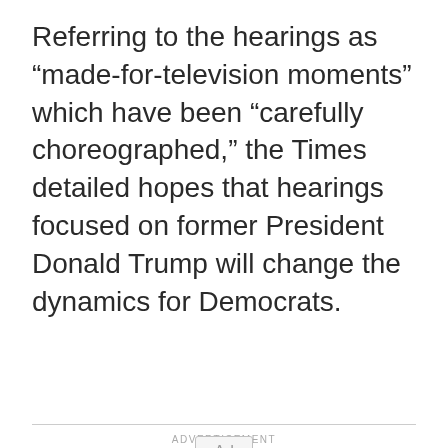Referring to the hearings as “made-for-television moments” which have been “carefully choreographed,” the Times detailed hopes that hearings focused on former President Donald Trump will change the dynamics for Democrats.
[Figure (other): Advertisement placeholder box with 'Ad' button label centered in a light gray rectangle, preceded by an 'ADVERTISEMENT' label in small caps.]